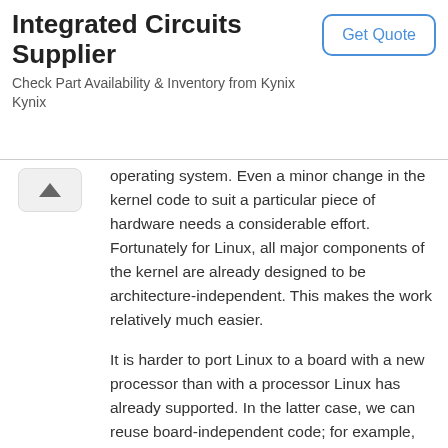Integrated Circuits Supplier
Check Part Availability & Inventory from Kynix
Kynix
Get Quote
operating system. Even a minor change in the kernel code to suit a particular piece of hardware needs a considerable effort. Fortunately for Linux, all major components of the kernel are already designed to be architecture-independent. This makes the work relatively much easier.
It is harder to port Linux to a board with a new processor than with a processor Linux has already supported. In the latter case, we can reuse board-independent code; for example, the code for memory management. Only a relatively small portion of the kernel code is board-dependent. When we considered implementing elinux, we tried to avoid reinventing the wheel. We kept most of the necessary changes limited to board-dependent parts. Our experiment was done on a PowerPC-based board. Linux already has ports for PowerPC-based machines such as Power Macintosh and a few PowerPC-based embedded Linux systems.